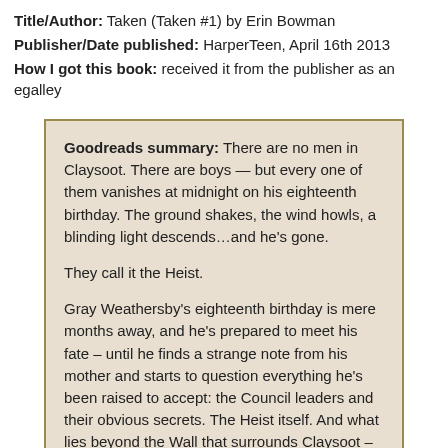Title/Author: Taken (Taken #1) by Erin Bowman
Publisher/Date published: HarperTeen, April 16th 2013
How I got this book: received it from the publisher as an egalley
Goodreads summary: There are no men in Claysoot. There are boys — but every one of them vanishes at midnight on his eighteenth birthday. The ground shakes, the wind howls, a blinding light descends…and he's gone.

They call it the Heist.

Gray Weathersby's eighteenth birthday is mere months away, and he's prepared to meet his fate – until he finds a strange note from his mother and starts to question everything he's been raised to accept: the Council leaders and their obvious secrets. The Heist itself. And what lies beyond the Wall that surrounds Claysoot – a structure